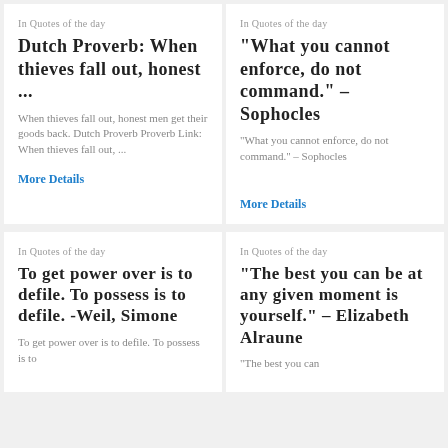In Quotes of the day
Dutch Proverb: When thieves fall out, honest ...
When thieves fall out, honest men get their goods back. Dutch Proverb Proverb Link: When thieves fall out, ...
More Details
In Quotes of the day
"What you cannot enforce, do not command." – Sophocles
"What you cannot enforce, do not command." – Sophocles
More Details
In Quotes of the day
To get power over is to defile. To possess is to defile. -Weil, Simone
To get power over is to defile. To possess is to
In Quotes of the day
"The best you can be at any given moment is yourself." – Elizabeth Alraune
"The best you can be at any given moment is yourself." – Elizabeth Alraune